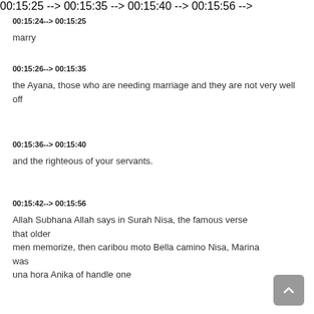00:15:24--> 00:15:25
marry
00:15:26--> 00:15:35
the Ayana, those who are needing marriage and they are not very well off
00:15:36--> 00:15:40
and the righteous of your servants.
00:15:42--> 00:15:56
Allah Subhana Allah says in Surah Nisa, the famous verse that older men memorize, then caribou moto Bella camino Nisa, Marina was una hora Anika of handle one